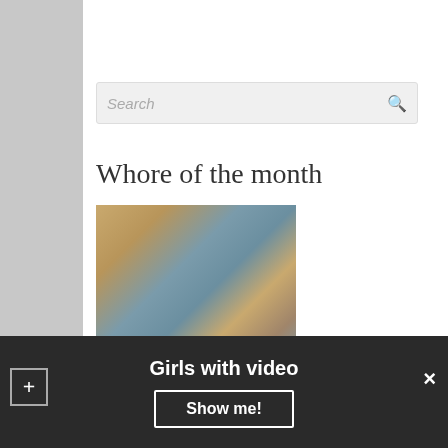Search
Whore of the month
[Figure (photo): Blonde woman with open shirt posing indoors]
Girls with video
Show me!